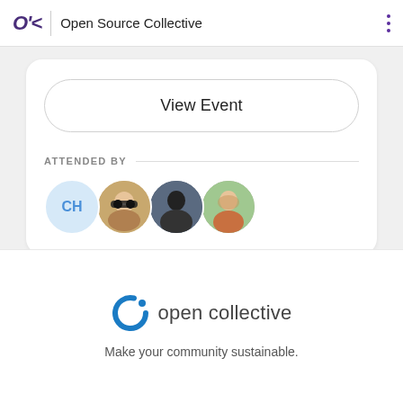Open Source Collective
View Event
ATTENDED BY
[Figure (illustration): Four circular avatars of event attendees: first is a light blue circle with initials CH, followed by three profile photos of people]
[Figure (logo): Open Collective logo with blue C arc and dot, followed by text 'open collective']
Make your community sustainable.